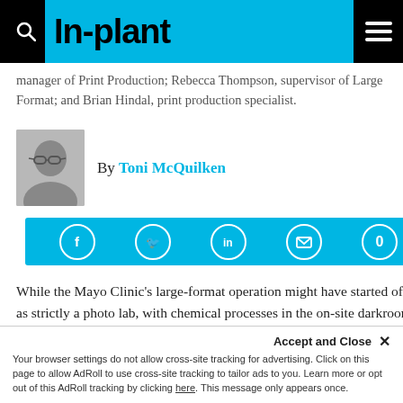In-plant
manager of Print Production; Rebecca Thompson, supervisor of Large Format; and Brian Hindal, print production specialist.
By Toni McQuilken
[Figure (other): Social sharing bar with Facebook, Twitter, LinkedIn, email icons and share count 0 on a cyan/blue background]
While the Mayo Clinic's large-format operation might have started off as strictly a photo lab, with chemical processes in the on-site darkroom, times have changed, and the range of services it offers has expanded. Today, the Rochester, Minn.-based in-plant employs around 65 people and...
Accept and Close ×
Your browser settings do not allow cross-site tracking for advertising. Click on this page to allow AdRoll to use cross-site tracking to tailor ads to you. Learn more or opt out of this AdRoll tracking by clicking here. This message only appears once.